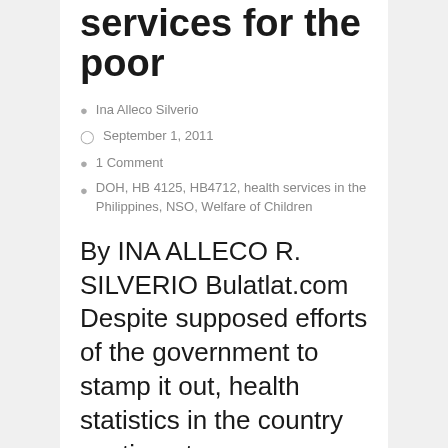services for the poor
Ina Alleco Silverio
September 1, 2011
1 Comment
DOH, HB 4125, HB4712, health services in the Philippines, NSO, Welfare of Children
By INA ALLECO R. SILVERIO Bulatlat.com Despite supposed efforts of the government to stamp it out, health statistics in the country continue to worsen as the most ordinary diseases and viruses like tuberculosis and dengue continue to claim